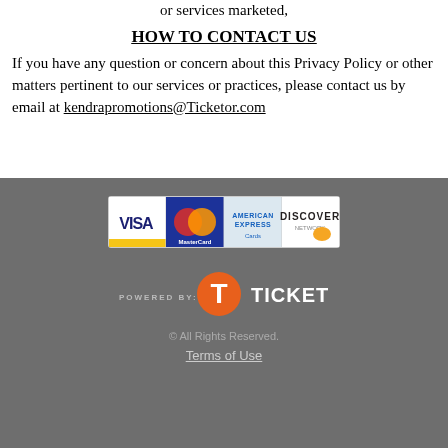or services marketed,
HOW TO CONTACT US
If you have any question or concern about this Privacy Policy or other matters pertinent to our services or practices, please contact us by email at kendrapromotions@Ticketor.com
[Figure (logo): Payment method icons: Visa, MasterCard, American Express, Discover]
[Figure (logo): Powered by Ticketor logo]
© All Rights Reserved.
Terms of Use